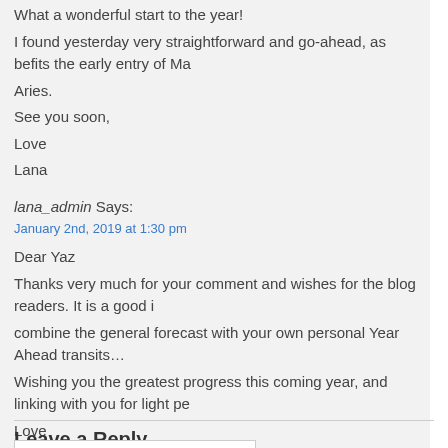What a wonderful start to the year!
I found yesterday very straightforward and go-ahead, as befits the early entry of Ma
Aries.
See you soon,
Love
Lana
lana_admin Says:
January 2nd, 2019 at 1:30 pm
Dear Yaz
Thanks very much for your comment and wishes for the blog readers. It is a good i
combine the general forecast with your own personal Year Ahead transits…
Wishing you the greatest progress this coming year, and linking with you for light pe
Love
Lana
Leave a Reply